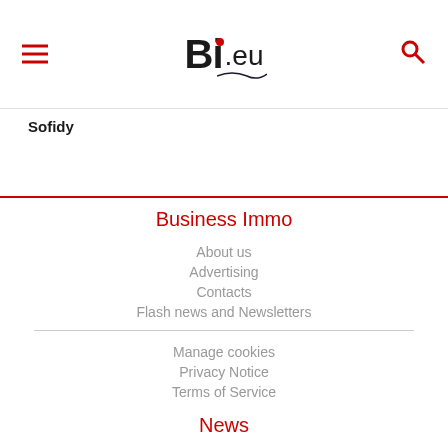BI.eu
Sofidy
Business Immo
About us
Advertising
Contacts
Flash news and Newsletters
Manage cookies
Privacy Notice
Terms of Service
News